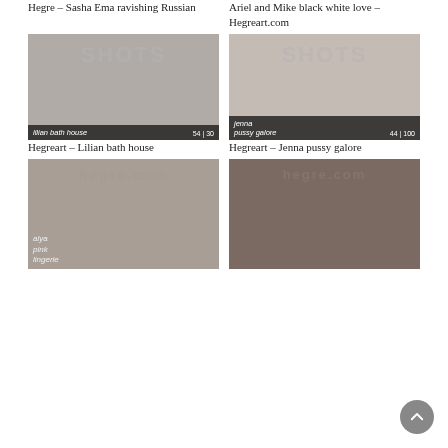Hegre – Sasha Ema ravishing Russian
[Figure (photo): Photo thumbnail of Hegreart lilian bath house cover - watermarked SHOTS]
Ariel and Mike black white love – Hegreart.com
[Figure (photo): Photo thumbnail of Hegreart jenna pussy galore cover - watermarked SHOTS]
Hegreart – Lilian bath house
[Figure (photo): Photo thumbnail of Hegreart alya pink lingerie cover]
Hegreart – Jenna pussy galore
[Figure (photo): Photo thumbnail of Hegreart intimate scene cover]